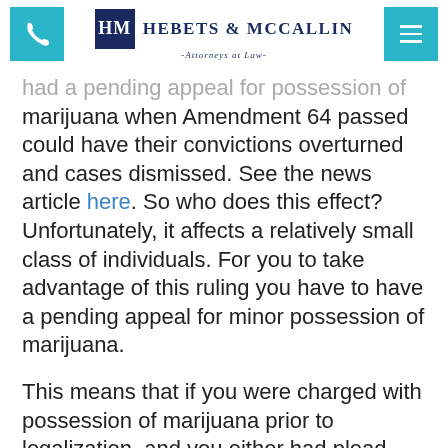Hebets & McCallin – Attorneys at Law
had a pending appeal for possession of marijuana when Amendment 64 passed could have their convictions overturned and cases dismissed. See the news article here. So who does this effect? Unfortunately, it affects a relatively small class of individuals. For you to take advantage of this ruling you have to have a pending appeal for minor possession of marijuana.

This means that if you were charged with possession of marijuana prior to legalization, and you either had plead guilty
This means that if you were charged with possession of marijuana prior to legalization, and you either had plead guilty